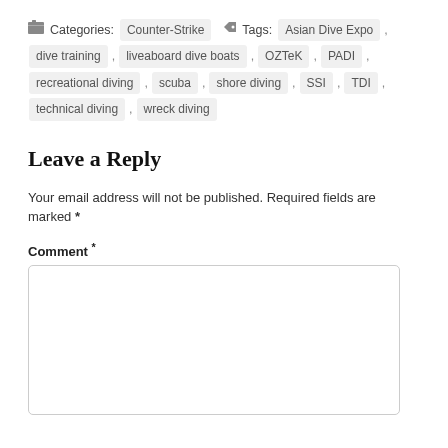Categories: Counter-Strike   Tags: Asian Dive Expo , dive training , liveaboard dive boats , OZTeK , PADI , recreational diving , scuba , shore diving , SSI , TDI , technical diving , wreck diving
Leave a Reply
Your email address will not be published. Required fields are marked *
Comment *